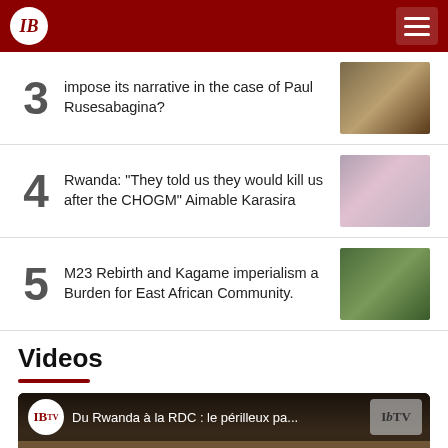IB (logo) — navigation header
3 — impose its narrative in the case of Paul Rusesabagina?
4 — Rwanda: "They told us they would kill us after the CHOGM" Aimable Karasira
5 — M23 Rebirth and Kagame imperialism a Burden for East African Community.
Videos
[Figure (screenshot): YouTube video thumbnail: Du Rwanda à la RDC : le périlleux pa...]